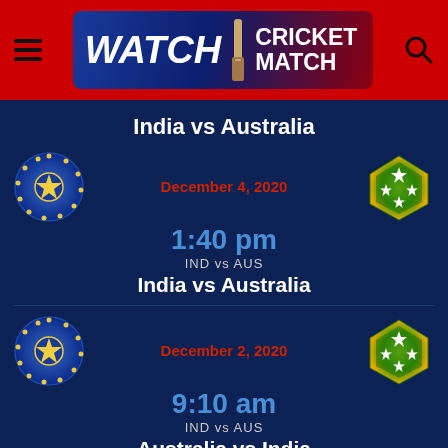[Figure (screenshot): Website header with hamburger menu, Watch Cricket Match logo banner, and search icon on red background]
India vs Australia
[Figure (infographic): Match card 1: India vs Australia, December 4 2020, 1:40 pm, IND vs AUS with team logos]
India vs Australia
[Figure (infographic): Match card 2: Australia vs India, December 2 2020, 9:10 am, IND vs AUS with team logos]
Australia vs India